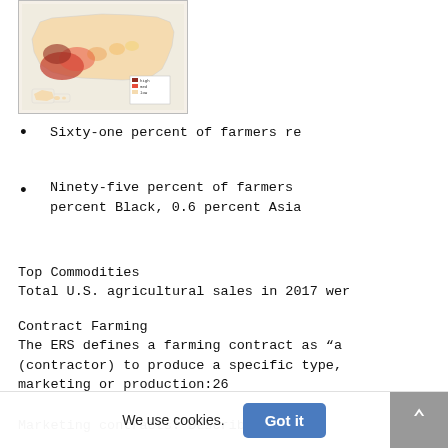[Figure (map): Thumbnail map of the United States showing agricultural data by county, with a color gradient legend in the lower left corner. Colors range from light yellow to dark red indicating density/value.]
Sixty-one percent of farmers re
Ninety-five percent of farmers percent Black, 0.6 percent Asia
Top Commodities
Total U.S. agricultural sales in 2017 wer
Contract Farming
The ERS defines a farming contract as “a (contractor) to produce a specific type, marketing or production:26
Marketing contracts: Described hi
We use cookies.
Got it